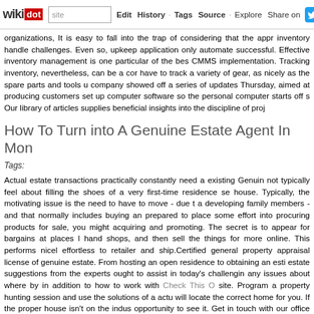wikidot | site | Edit | History | Tags | Source | Explore | Share on
organizations, It is easy to fall into the trap of considering that the appr inventory handle challenges. Even so, upkeep application only automate successful. Effective inventory management is one particular of the bes CMMS implementation. Tracking inventory, nevertheless, can be a cor have to track a variety of gear, as nicely as the spare parts and tools u company showed off a series of updates Thursday, aimed at producing customers set up computer software so the personal computer starts off s Our library of articles supplies beneficial insights into the discipline of proj
How To Turn into A Genuine Estate Agent In Mon
Tags:
Actual estate transactions practically constantly need a existing Genuin not typically feel about filling the shoes of a very first-time residence se house. Typically, the motivating issue is the need to have to move - due t a developing family members - and that normally includes buying an prepared to place some effort into procuring products for sale, you might acquiring and promoting. The secret is to appear for bargains at places l hand shops, and then sell the things for more online. This performs nicel effortless to retailer and ship.Certified general property appraisal license of genuine estate. From hosting an open residence to obtaining an esti estate suggestions from the experts ought to assist in today's challengin any issues about where by in addition to how to work with Check This O site. Program a property hunting session and use the solutions of a actu will locate the correct home for you. If the proper house isn't on the indus opportunity to see it. Get in touch with our office and we'll show you ho really enthusiastic estate agent (who had offered us torches to use an essential to get to the first floor) who was ever so excited about how